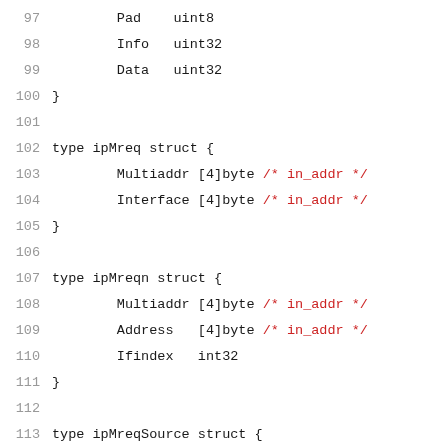97        Pad    uint8
98        Info   uint32
99        Data   uint32
100  }
101
102  type ipMreq struct {
103        Multiaddr [4]byte /* in_addr */
104        Interface [4]byte /* in_addr */
105  }
106
107  type ipMreqn struct {
108        Multiaddr [4]byte /* in_addr */
109        Address   [4]byte /* in_addr */
110        Ifindex   int32
111  }
112
113  type ipMreqSource struct {
114        Multiaddr  uint32
115        Interface  uint32
116        Sourceaddr uint32
117  }